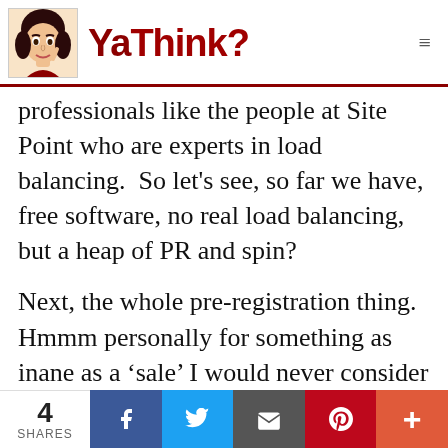YaThink?
professionals like the people at Site Point who are experts in load balancing.  So let's see, so far we have, free software, no real load balancing, but a heap of PR and spin?
Next, the whole pre-registration thing.  Hmmm personally for something as inane as a ‘sale’ I would never consider pre-registering.  Something hot like concert tickets that you know will sell out, fair call,
4 SHARES